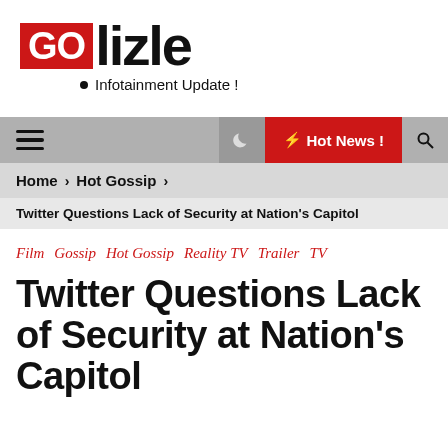[Figure (logo): GOlizle logo with red GO box and tagline 'Infotainment Update!']
GOlizle Infotainment Update!
Home > Hot Gossip >
Twitter Questions Lack of Security at Nation's Capitol
Film  Gossip  Hot Gossip  Reality TV  Trailer  TV
Twitter Questions Lack of Security at Nation's Capitol